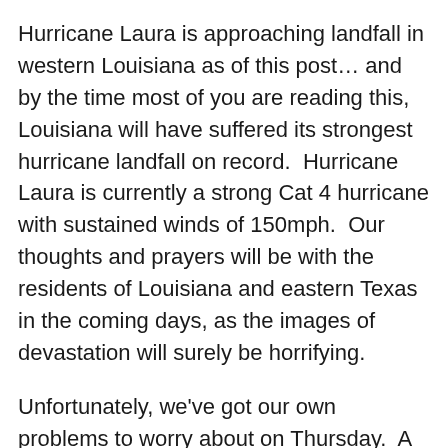Hurricane Laura is approaching landfall in western Louisiana as of this post… and by the time most of you are reading this, Louisiana will have suffered its strongest hurricane landfall on record.  Hurricane Laura is currently a strong Cat 4 hurricane with sustained winds of 150mph.  Our thoughts and prayers will be with the residents of Louisiana and eastern Texas in the coming days, as the images of devastation will surely be horrifying.
Unfortunately, we've got our own problems to worry about on Thursday.  A warm front will push through in the morning on Thursday with scattered showers, maybe even a rumble of thunder.  That will give way to sunshine and clouds… and temps in the mid 80s for the afternoon.  We'll have strong SW winds at the surface,